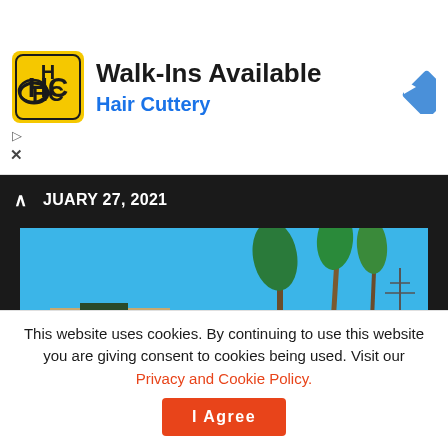[Figure (logo): Hair Cuttery logo - yellow square with black HC letters]
Walk-Ins Available
Hair Cuttery
[Figure (illustration): Blue diamond navigation arrow icon pointing right]
JUARY 27, 2021
[Figure (screenshot): GTA San Andreas game screenshot showing a street scene with palm trees, buildings, blue sky and a character in a white tank top]
This website uses cookies. By continuing to use this website you are giving consent to cookies being used. Visit our Privacy and Cookie Policy.